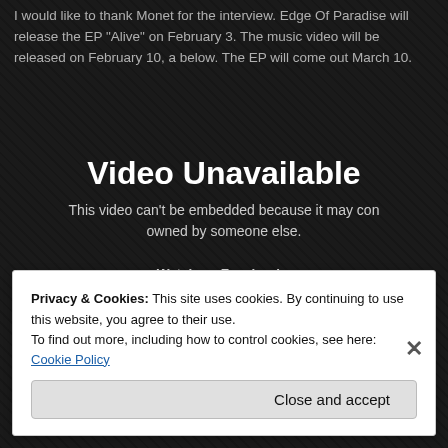I would like to thank Monet for the interview. Edge Of Paradise will release the EP "Alive" on February 3. The music video will be released on February 10, a below. The EP will come out March 10.
[Figure (screenshot): Embedded video player showing 'Video Unavailable' error. Text reads: 'Video Unavailable. This video can't be embedded because it may con... owned by someone else.' Links: 'Watch on Facebook' and 'Learn more'.]
Privacy & Cookies: This site uses cookies. By continuing to use this website, you agree to their use. To find out more, including how to control cookies, see here: Cookie Policy
Close and accept